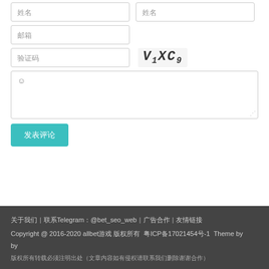姓名 (two input boxes side by side)
邮箱 (single input box)
验证码 input with captcha image V1XC9
☺ comment textarea
发表评论 submit button
关于我们 | 联系Telegram：@bet_seo_web | 广告合作 | 友情链接
Copyright @ 2016-2020 allbet游戏 版权所有  粤ICP备17021454号-1  Theme by
版权所有转载必须注明出处（文章内容如有侵权请联系我们删除谢谢合作）